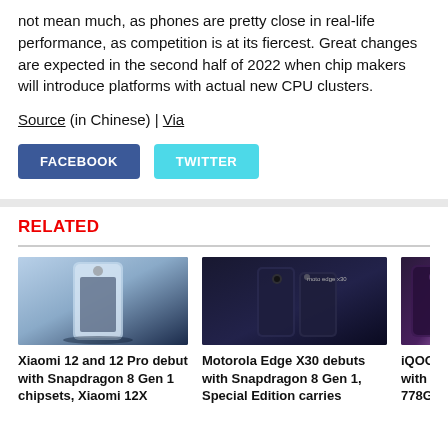not mean much, as phones are pretty close in real-life performance, as competition is at its fiercest. Great changes are expected in the second half of 2022 when chip makers will introduce platforms with actual new CPU clusters.
Source (in Chinese) | Via
[Figure (other): Social sharing buttons: FACEBOOK (blue) and TWITTER (cyan)]
RELATED
[Figure (photo): Xiaomi 12 and 12 Pro smartphone photo with blue/silver gradient background]
Xiaomi 12 and 12 Pro debut with Snapdragon 8 Gen 1 chipsets, Xiaomi 12X
[Figure (photo): Motorola Edge X30 smartphone photo on dark background with 'moto edge x30' text]
Motorola Edge X30 debuts with Snapdragon 8 Gen 1, Special Edition carries
[Figure (photo): iQOO Z5 smartphone photo on purple/dark background (partially visible)]
iQOO Z5 with Sna 778G, 12